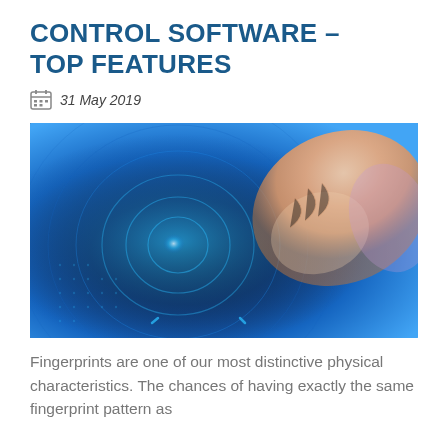CONTROL SOFTWARE – TOP FEATURES
31 May 2019
[Figure (photo): A finger pressing on a glowing blue circular fingerprint scanner interface against a dark blue background, with concentric digital ring patterns illuminated in blue light.]
Fingerprints are one of our most distinctive physical characteristics. The chances of having exactly the same fingerprint pattern as